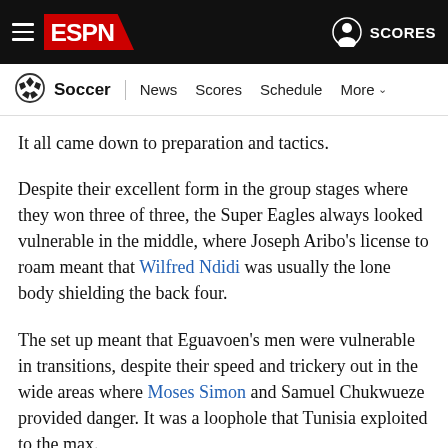ESPN — Soccer | News  Scores  Schedule  More
It all came down to preparation and tactics.
Despite their excellent form in the group stages where they won three of three, the Super Eagles always looked vulnerable in the middle, where Joseph Aribo's license to roam meant that Wilfred Ndidi was usually the lone body shielding the back four.
The set up meant that Eguavoen's men were vulnerable in transitions, despite their speed and trickery out in the wide areas where Moses Simon and Samuel Chukwueze provided danger. It was a loophole that Tunisia exploited to the max.
Nigeria's wide players were blunted by a double team, especially on Simon, and Ellyes Skhiri dropping into the